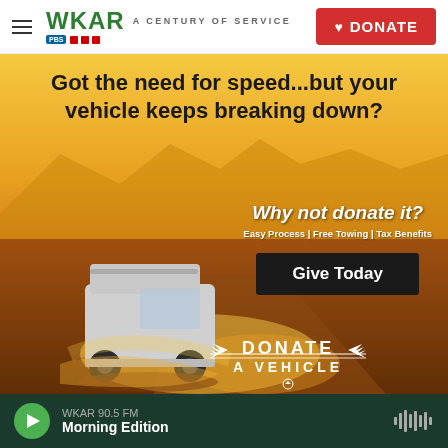WKAR A CENTURY OF SERVICE | DONATE
[Figure (photo): Advertisement banner with a white van driving through desert with golden dust. Text overlay: 'Got the need for speed...but your vehicle keeps breaking down? Why not donate it? Easy Process | Free Towing | Tax Benefits. Give Today. DONATE A VEHICLE']
WKAR 90.5 FM Morning Edition